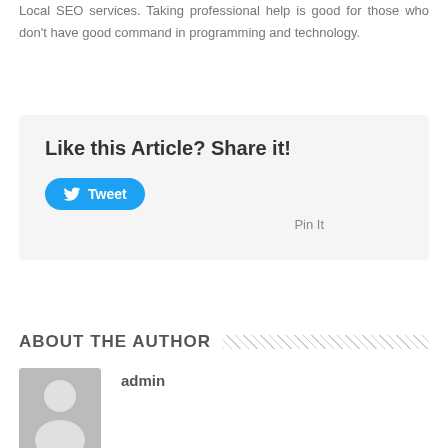Local SEO services. Taking professional help is good for those who don't have good command in programming and technology.
Like this Article? Share it!
[Figure (other): Tweet button with Twitter bird icon]
Pin It
ABOUT THE AUTHOR
[Figure (photo): Generic user avatar placeholder - grey background with white silhouette of a person]
admin